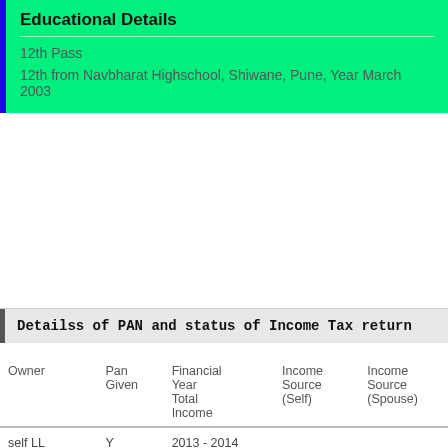Educational Details
12th Pass
12th from Navbharat Highschool, Shiwane, Pune, Year March 2003
Detailss of PAN and status of Income Tax return
| Owner | Pan Given | Financial Year Total Income | Income Source (Self) | Income Source (Spouse) |
| --- | --- | --- | --- | --- |
| self LL | Y | 2013 - 2014
Rs 223092.00~ |  |  |
| spouse LL | Y | None
Rs 0.00~ |  |  |
| dependent1 LL | N | None
Rs 0.00~ |  |  |